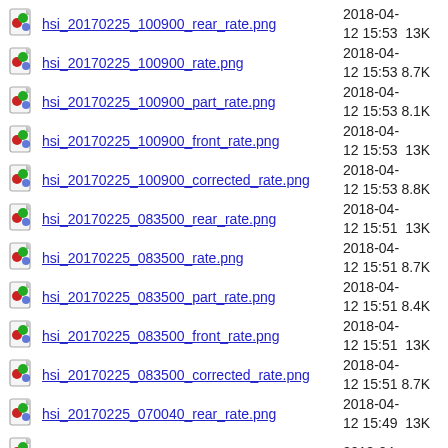hsi_20170225_100900_rear_rate.png  2018-04-12 15:53  13K
hsi_20170225_100900_rate.png  2018-04-12 15:53  8.7K
hsi_20170225_100900_part_rate.png  2018-04-12 15:53  8.1K
hsi_20170225_100900_front_rate.png  2018-04-12 15:53  13K
hsi_20170225_100900_corrected_rate.png  2018-04-12 15:53  8.8K
hsi_20170225_083500_rear_rate.png  2018-04-12 15:51  13K
hsi_20170225_083500_rate.png  2018-04-12 15:51  8.7K
hsi_20170225_083500_part_rate.png  2018-04-12 15:51  8.4K
hsi_20170225_083500_front_rate.png  2018-04-12 15:51  13K
hsi_20170225_083500_corrected_rate.png  2018-04-12 15:51  8.7K
hsi_20170225_070040_rear_rate.png  2018-04-12 15:49  13K
hsi_20170225_070040 ...  2018-04-...